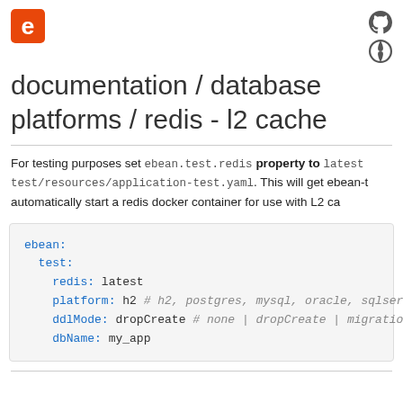documentation / database platforms / redis - l2 cache
For testing purposes set ebean.test.redis property to latest in test/resources/application-test.yaml. This will get ebean-t automatically start a redis docker container for use with L2 ca
ebean:
  test:
    redis: latest
    platform: h2 # h2, postgres, mysql, oracle, sqlser
    ddlMode: dropCreate # none | dropCreate | migratio
    dbName: my_app